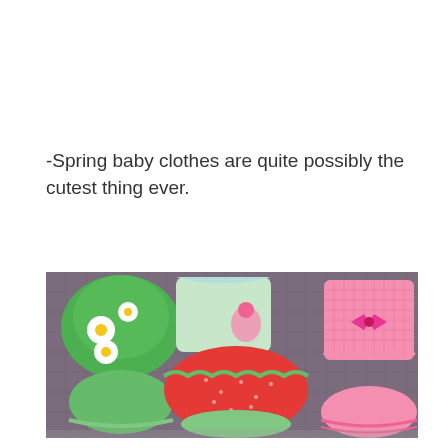-Spring baby clothes are quite possibly the cutest thing ever.
[Figure (photo): Photo of several spring baby outfits laid flat on a purple/gray quilted surface. Outfits include: a green daisy-print dress with matching bloomers, a light green sleeveless top, a red polka-dot skirt with green bloomers, a light green top with pink butterfly applique, and a pink gingham ruffled top with polka-dot bloomers.]